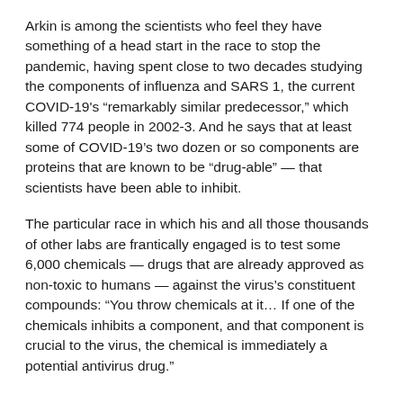Arkin is among the scientists who feel they have something of a head start in the race to stop the pandemic, having spent close to two decades studying the components of influenza and SARS 1, the current COVID-19's “remarkably similar predecessor,” which killed 774 people in 2002-3. And he says that at least some of COVID-19’s two dozen or so components are proteins that are known to be “drug-able” — that scientists have been able to inhibit.
The particular race in which his and all those thousands of other labs are frantically engaged is to test some 6,000 chemicals — drugs that are already approved as non-toxic to humans — against the virus’s constituent compounds: “You throw chemicals at it… If one of the chemicals inhibits a component, and that component is crucial to the virus, the chemical is immediately a potential antivirus drug.”